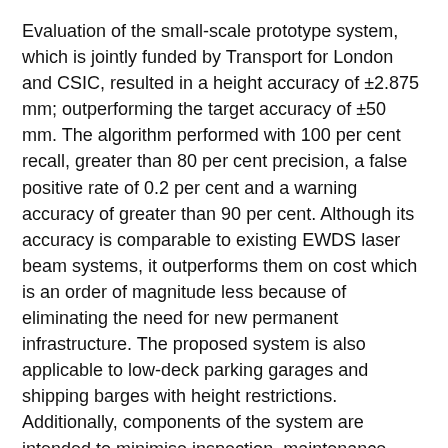Evaluation of the small-scale prototype system, which is jointly funded by Transport for London and CSIC, resulted in a height accuracy of ±2.875 mm; outperforming the target accuracy of ±50 mm. The algorithm performed with 100 per cent recall, greater than 80 per cent precision, a false positive rate of 0.2 per cent and a warning accuracy of greater than 90 per cent. Although its accuracy is comparable to existing EWDS laser beam systems, it outperforms them on cost which is an order of magnitude less because of eliminating the need for new permanent infrastructure. The proposed system is also applicable to low-deck parking garages and shipping barges with height restrictions. Additionally, components of the system are intended to minimise inspection, maintenance, and repair costs that fall to the asset owner.
Next step
Researchers plan to develop and test a larger scale prototype and are seeking potential investment from